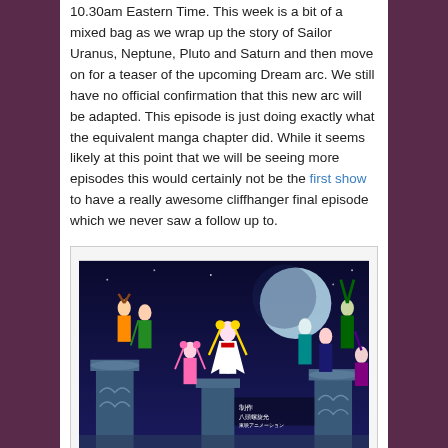10.30am Eastern Time. This week is a bit of a mixed bag as we wrap up the story of Sailor Uranus, Neptune, Pluto and Saturn and then move on for a teaser of the upcoming Dream arc. We still have no official confirmation that this new arc will be adapted. This episode is just doing exactly what the equivalent manga chapter did. While it seems likely at this point that we will be seeing more episodes this would certainly not be the first show to have a really awesome cliffhanger final episode which we never saw a follow up to.
[Figure (photo): Anime screenshot showing multiple Sailor Moon characters standing on ornate pillars against a night sky with a large moon. Characters include Sailor Moon and other Sailor Senshi in their battle costumes. Japanese text/subtitles visible in lower right.]
As always we start with an unreasonably long flashback! This week's spans 3 minutes and 13 seconds which